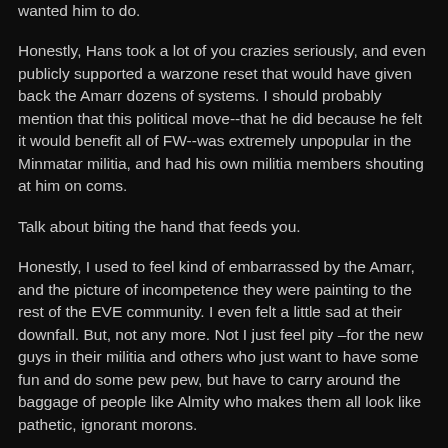wanted him to do.
Honestly, Hans took a lot of you crazies seriously, and even publicly supported a warzone reset that would have given back the Amarr dozens of systems. I should probably mention that this political move--that he did because he felt it would benefit all of FW--was extremely unpopular in the Minmatar militia, and had his own militia members shouting at him on coms.
Talk about biting the hand that feeds you.
Honestly, I used to feel kind of embarrassed by the Amarr, and the picture of incompetence they were painting to the rest of the EVE community. I even felt a little sad at their downfall. But, not any more. Not I just feel pity –for the new guys in their militia and others who just want to have some fun and do some pew pew, but have to carry around the baggage of people like Almity who makes them all look like pathetic, ignorant morons.
So, feel free to fly your tech-1 Rupture around the warzone